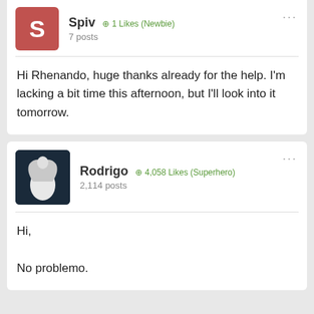Spiv ⊕1 Likes (Newbie)
7 posts
Hi Rhenando, huge thanks already for the help. I'm lacking a bit time this afternoon, but I'll look into it tomorrow.
Rodrigo ⊕4,058 Likes (Superhero)
2,114 posts
Hi,

No problemo.